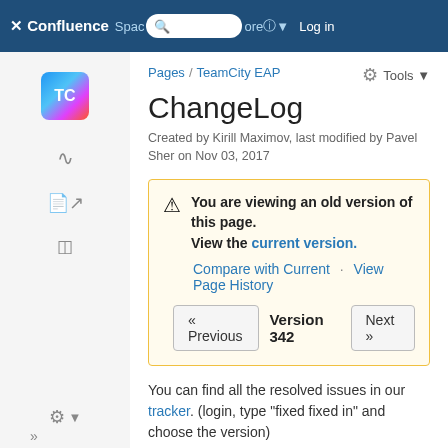Confluence — Spaces / More / Log in (navigation bar)
[Figure (logo): TeamCity TC logo icon in left sidebar]
Pages / TeamCity EAP
ChangeLog
Created by Kirill Maximov, last modified by Pavel Sher on Nov 03, 2017
You are viewing an old version of this page. View the current version. Compare with Current · View Page History
« Previous   Version 342   Next »
You can find all the resolved issues in our tracker. (login, type "fixed fixed in" and choose the version)
Indore 2017.2 EAP4 (build 50290) Release Notes,